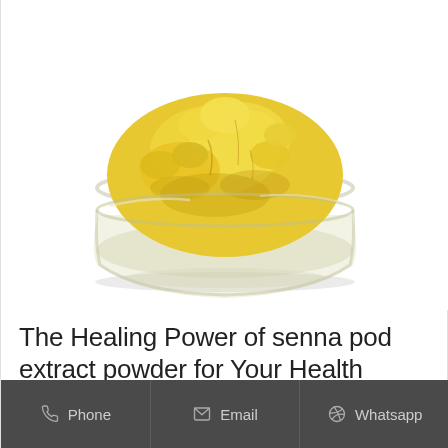[Figure (photo): A glass bowl filled with yellow senna pod extract powder, photographed on a white background]
The Healing Power of senna pod extract powder for Your Health
Phone  |  Email  |  Whatsapp